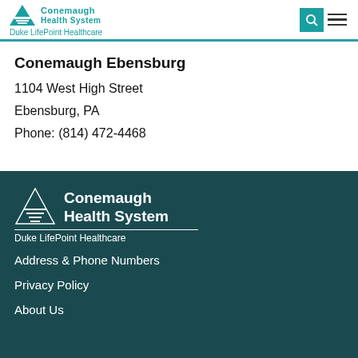Duke LifePoint Healthcare
Conemaugh Ebensburg
1104 West High Street
Ebensburg, PA
Phone: (814) 472-4468
[Figure (logo): Conemaugh Health System logo with pyramid/triangle icon and Duke LifePoint Healthcare tagline, white on dark teal background]
Address & Phone Numbers
Privacy Policy
About Us